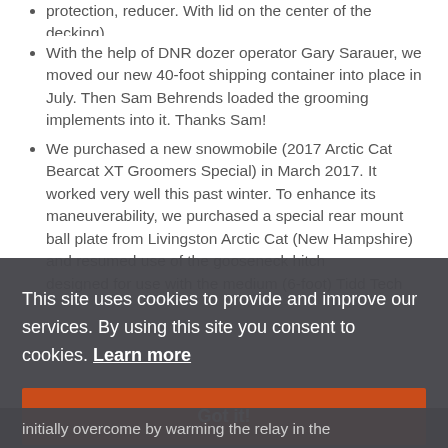protection, reducer. With lid on the center of the decking).
With the help of DNR dozer operator Gary Sarauer, we moved our new 40-foot shipping container into place in July. Then Sam Behrends loaded the grooming implements into it. Thanks Sam!
We purchased a new snowmobile (2017 Arctic Cat Bearcat XT Groomers Special) in March 2017. It worked very well this past winter. To enhance its maneuverability, we purchased a special rear mount ball plate from Livingston Arctic Cat (New Hampshire) and resumed use of the gooseneck hitch designed for use with the medium (6-foot) Tidd Tech
This site uses cookies to provide and improve our services. By using this site you consent to cookies. Learn more
Got it!
initially overcome by warming the relay in the